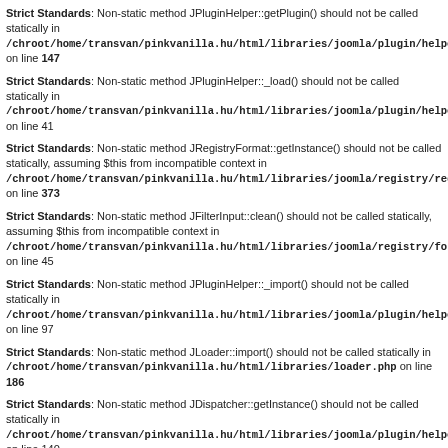Strict Standards: Non-static method JPluginHelper::getPlugin() should not be called statically in /chroot/home/transvan/pinkvanilla.hu/html/libraries/joomla/plugin/helper.php on line 147
Strict Standards: Non-static method JPluginHelper::_load() should not be called statically in /chroot/home/transvan/pinkvanilla.hu/html/libraries/joomla/plugin/helper.php on line 41
Strict Standards: Non-static method JRegistryFormat::getInstance() should not be called statically, assuming $this from incompatible context in /chroot/home/transvan/pinkvanilla.hu/html/libraries/joomla/registry/registry.php on line 373
Strict Standards: Non-static method JFilterInput::clean() should not be called statically, assuming $this from incompatible context in /chroot/home/transvan/pinkvanilla.hu/html/libraries/joomla/registry/format.php on line 45
Strict Standards: Non-static method JPluginHelper::_import() should not be called statically in /chroot/home/transvan/pinkvanilla.hu/html/libraries/joomla/plugin/helper.php on line 97
Strict Standards: Non-static method JLoader::import() should not be called statically in /chroot/home/transvan/pinkvanilla.hu/html/libraries/loader.php on line 186
Strict Standards: Non-static method JDispatcher::getInstance() should not be called statically in /chroot/home/transvan/pinkvanilla.hu/html/libraries/joomla/plugin/helper.php on line 140
Strict Standards: Non-static method JPluginHelper::getPlugin() should not be called statically in /chroot/home/transvan/pinkvanilla.hu/html/libraries/joomla/plugin/helper.php on line 147